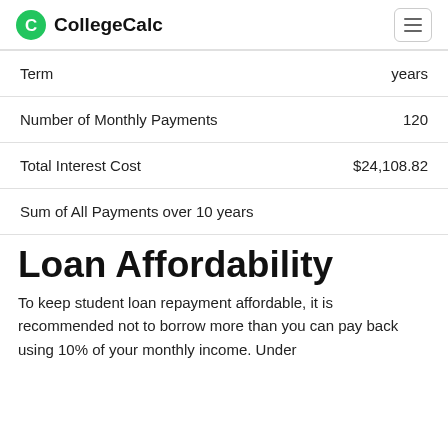CollegeCalc
| Term | years |
| Number of Monthly Payments | 120 |
| Total Interest Cost | $24,108.82 |
| Sum of All Payments over 10 years |  |
Loan Affordability
To keep student loan repayment affordable, it is recommended not to borrow more than you can pay back using 10% of your monthly income. Under